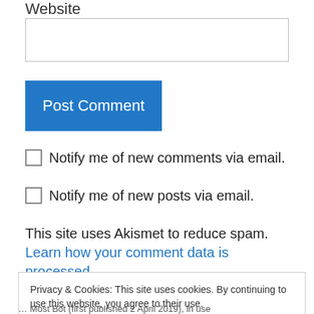Website
[Figure (screenshot): Empty text input box for website field]
Post Comment
Notify me of new comments via email.
Notify me of new posts via email.
This site uses Akismet to reduce spam. Learn how your comment data is processed.
Privacy & Cookies: This site uses cookies. By continuing to use this website, you agree to their use.
To find out more, including how to control cookies, see here: Our Cookie Policy
Close and accept
Most Bot (first published 2 April 2019), in use